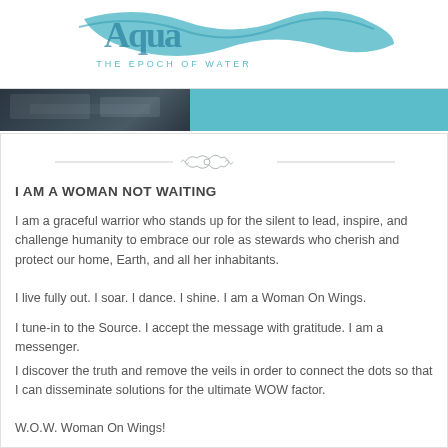[Figure (logo): Aqua/teal wave logo with text 'THE EPOCH OF WATER']
[Figure (photo): Horizontal banner with a dark photo on the left and teal background on the right]
[Figure (illustration): Decorative ornamental divider with scrollwork]
I AM A WOMAN NOT WAITING
I am a graceful warrior who stands up for the silent to lead, inspire, and challenge humanity to embrace our role as stewards who cherish and protect our home, Earth, and all her inhabitants.
I live fully out. I soar. I dance. I shine. I am a Woman On Wings.
I tune-in to the Source. I accept the message with gratitude. I am a messenger.
I discover the truth and remove the veils in order to connect the dots so that I can disseminate solutions for the ultimate WOW factor.
W.O.W. Woman On Wings!